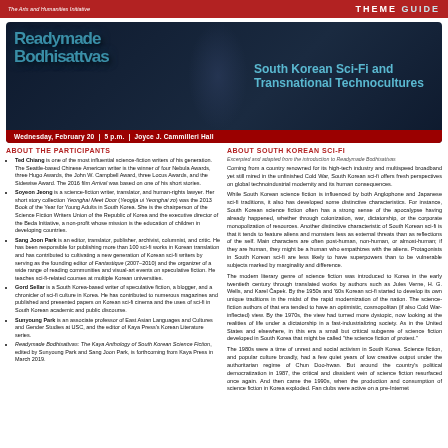The Arts and Humanities Initiative | THEME GUIDE
[Figure (illustration): Dark blue/black banner with stylized text reading 'Readymade Bodhisattvas' alongside an image of a Buddha statue, and subtitle 'South Korean Sci-Fi and Transnational Technocultures']
Wednesday, February 20 | 5 p.m. | Joyce J. Cammilleri Hall
ABOUT THE PARTICIPANTS
Ted Chiang is one of the most influential science-fiction writers of his generation. The Seattle-based Chinese American writer is the winner of four Nebula Awards, three Hugo Awards, the John W. Campbell Award, three Locus Awards, and the Sidewise Award. The 2016 film Arrival was based on one of his short stories.
Soyeon Jeong is a science-fiction writer, translator, and human-rights lawyer. Her short story collection Yeonghai Meet Door (Yeogija ui Yeonghai zo) was the 2013 Book of the Year for Young Adults in South Korea. She is the chairperson of the Science Fiction Writers Union of the Republic of Korea and the executive director of the Beda Initiative, a non-profit whose mission is the education of children in developing countries.
Sang Joon Park is an editor, translator, publisher, archivist, columnist, and critic. He has been responsible for publishing more than 100 sci-fi works in Korean translation and has contributed to cultivating a new generation of Korean sci-fi writers by serving as the founding editor of Fantastique (2007–2010) and the organizer of a wide range of reading communities and visual-art events on speculative fiction. He teaches sci-fi-related courses at multiple Korean universities.
Gord Sellar is a South Korea-based writer of speculative fiction, a blogger, and a chronicler of sci-fi culture in Korea. He has contributed to numerous magazines and published and presented papers on Korean sci-fi cinema and the uses of sci-fi in South Korean academic and public discourse.
Sunyoung Park is an associate professor of East Asian Languages and Cultures and Gender Studies at USC, and the editor of Kaya Press's Korean Literature series.
Readymade Bodhisattvas: The Kaya Anthology of South Korean Science Fiction, edited by Sunyoung Park and Sang Joon Park, is forthcoming from Kaya Press in March 2019.
ABOUT SOUTH KOREAN SCI-FI
Excerpted and adapted from the introduction to Readymade Bodhisattvas
Coming from a country renowned for its high-tech industry and multispeed broadband yet still mired in the unfinished Cold War, South Korean sci-fi offers fresh perspectives on global technoindustrial modernity and its human consequences.
While South Korean science fiction is influenced by both Anglophone and Japanese sci-fi traditions, it also has developed some distinctive characteristics. For instance, South Korean science fiction often has a strong sense of the apocalypse having already happened, whether through colonization, war, dictatorship, or the corporate monopolization of resources. Another distinctive characteristic of South Korean sci-fi is that it tends to feature aliens and monsters less as external threats than as reflections of the self. Main characters are often post-human, non-human, or almost-human; if they are human, they might be a human who empathizes with the aliens. Protagonists in South Korean sci-fi are less likely to have superpowers than to be vulnerable subjects marked by marginality and difference.
The modern literary genre of science fiction was introduced to Korea in the early twentieth century through translated works by authors such as Jules Verne, H. G. Wells, and Karel Čapek. By the 1950s and '60s Korean sci-fi started to develop its own unique traditions in the midst of the rapid modernization of the nation. The science-fiction authors of that era tended to have an optimistic, cosmopolitan (if also Cold War-inflected) view. By the 1970s, the view had turned more dystopic, now looking at the realities of life under a dictatorship in a fast-industrializing society. As in the United States and elsewhere, in this era a small but critical subgenre of science fiction developed in South Korea that might be called 'the science fiction of protest.'
The 1980s were a time of unrest and social activism in South Korea. Science fiction, and popular culture broadly, had a few quiet years of low creative output under the authoritarian regime of Chun Doo-hwan. But around the country's political democratization in 1987, the critical and dissident vein of science fiction resurfaced once again. And then came the 1990s, when the production and consumption of science fiction in Korea exploded. Fan clubs were active on a pre-Internet